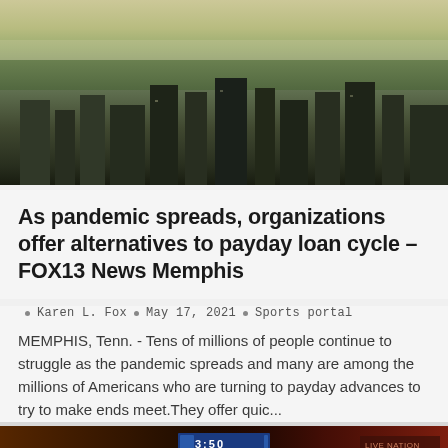[Figure (photo): Aerial city skyline view with trees and buildings in hazy morning light]
As pandemic spreads, organizations offer alternatives to payday loan cycle – FOX13 News Memphis
Karen L. Fox  •  May 17, 2021  •  Sports portal
MEMPHIS, Tenn. - Tens of millions of people continue to struggle as the pandemic spreads and many are among the millions of Americans who are turning to payday advances to try to make ends meet.They offer quic...
[Figure (screenshot): Video game or sports broadcast screenshot with dark background, yellow trim, blue UI elements, timer reading 3:50, and HAQ9802 badge in lower left]